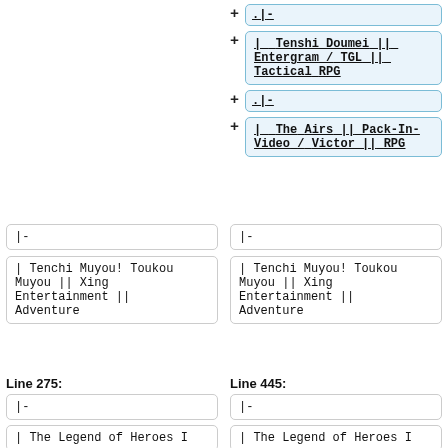+ .|–
+ |_ Tenshi Doumei ||_ Entergram / TGL ||_ Tactical RPG
+ .|–
+ |_ The Airs ||_ Pack-In-Video / Victor ||_ RPG
|- (left)
|- (right)
| Tenchi Muyou! Toukou Muyou || Xing Entertainment || Adventure (left)
| Tenchi Muyou! Toukou Muyou || Xing Entertainment || Adventure (right)
Line 275:
Line 445:
|- (left bottom)
|- (right bottom)
| The Legend of Heroes I (left)
| The Legend of Heroes I (right)